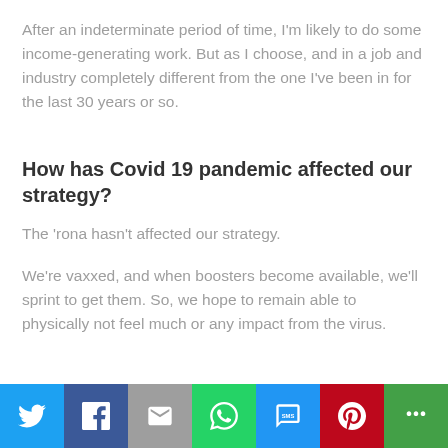After an indeterminate period of time, I'm likely to do some income-generating work. But as I choose, and in a job and industry completely different from the one I've been in for the last 30 years or so.
How has Covid 19 pandemic affected our strategy?
The 'rona hasn't affected our strategy.
We're vaxxed, and when boosters become available, we'll sprint to get them. So, we hope to remain able to physically not feel much or any impact from the virus.
[Figure (infographic): Social sharing bar with icons for Twitter, Facebook, Email, WhatsApp, SMS, Pinterest, and More (share icon)]